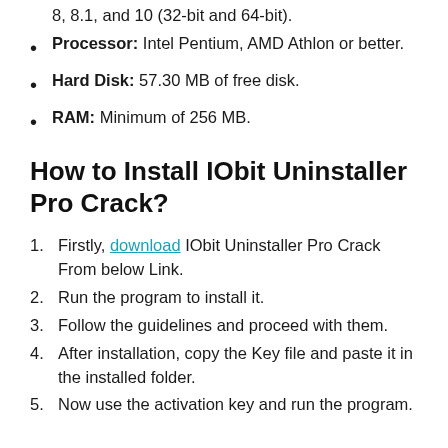8, 8.1, and 10 (32-bit and 64-bit).
Processor: Intel Pentium, AMD Athlon or better.
Hard Disk: 57.30 MB of free disk.
RAM: Minimum of 256 MB.
How to Install IObit Uninstaller Pro Crack?
1. Firstly, download IObit Uninstaller Pro Crack From below Link.
2. Run the program to install it.
3. Follow the guidelines and proceed with them.
4. After installation, copy the Key file and paste it in the installed folder.
5. Now use the activation key and run the program.